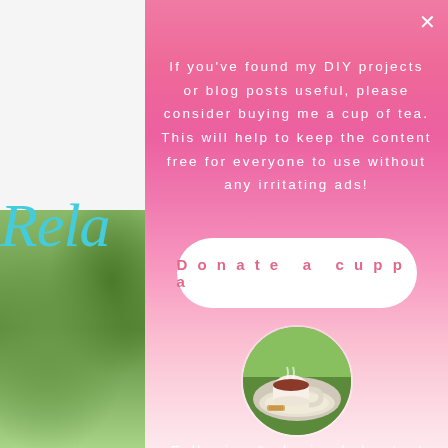[Figure (screenshot): Website popup modal with pink gradient background showing a donation request for tea, with a 'Donate a cuppa' button and tea cup image, overlaid on a garden website. A cookie consent banner is shown at the bottom.]
If you've found my DIY projects or blog posts useful, please consider buying me a cup of tea. This will help to keep the content free for everyone to use without any irritating ads!
Donate a cuppa
Following & sharing helps too!
Please agree to the use of cookies to continue using this website. More info
Accept